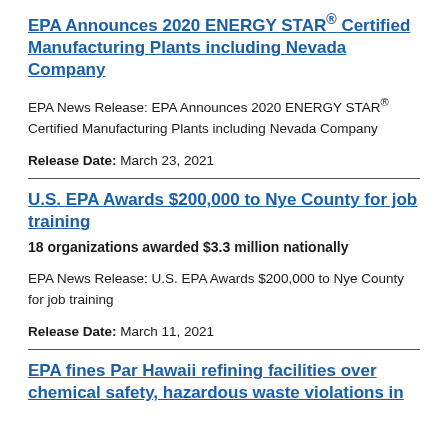EPA Announces 2020 ENERGY STAR® Certified Manufacturing Plants including Nevada Company
EPA News Release: EPA Announces 2020 ENERGY STAR® Certified Manufacturing Plants including Nevada Company
Release Date: March 23, 2021
U.S. EPA Awards $200,000 to Nye County for job training
18 organizations awarded $3.3 million nationally
EPA News Release: U.S. EPA Awards $200,000 to Nye County for job training
Release Date: March 11, 2021
EPA fines Par Hawaii refining facilities over chemical safety, hazardous waste violations in